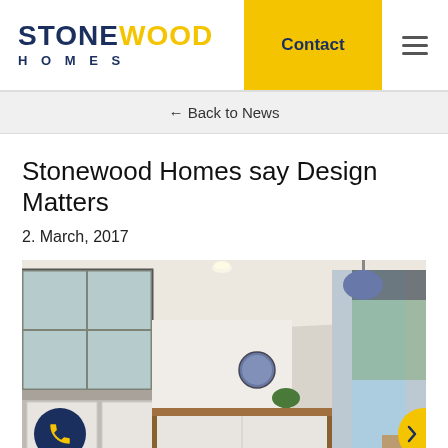STONEWOOD HOMES | Contact
← Back to News
Stonewood Homes say Design Matters
2. March, 2017
[Figure (photo): Modern kitchen interior with white cabinetry, large windows, wooden island countertop, and pendant light fixture in a Stonewood home.]